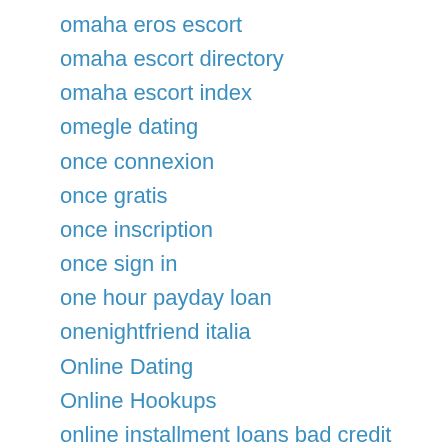omaha eros escort
omaha escort directory
omaha escort index
omegle dating
once connexion
once gratis
once inscription
once sign in
one hour payday loan
onenightfriend italia
Online Dating
Online Hookups
online installment loans bad credit
online installment loans direct lenders
online payday loan